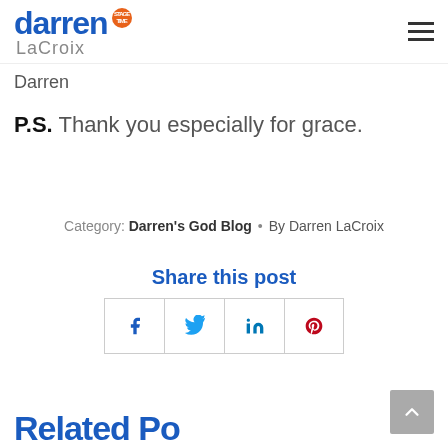darren STAGE TIME LaCroix
Darren
P.S. Thank you especially for grace.
Category: Darren's God Blog • By Darren LaCroix
Share this post
f  (Twitter bird)  in  (Pinterest p)
Related Posts